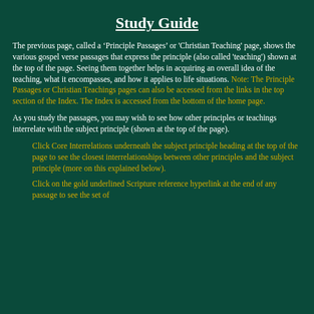Study Guide
The previous page, called a ‘Principle Passages’ or 'Christian Teaching' page, shows the various gospel verse passages that express the principle (also called 'teaching') shown at the top of the page. Seeing them together helps in acquiring an overall idea of the teaching, what it encompasses, and how it applies to life situations. Note: The Principle Passages or Christian Teachings pages can also be accessed from the links in the top section of the Index. The Index is accessed from the bottom of the home page.
As you study the passages, you may wish to see how other principles or teachings interrelate with the subject principle (shown at the top of the page).
Click Core Interrelations underneath the subject principle heading at the top of the page to see the closest interrelationships between other principles and the subject principle (more on this explained below).
Click on the gold underlined Scripture reference hyperlink at the end of any passage to see the set of